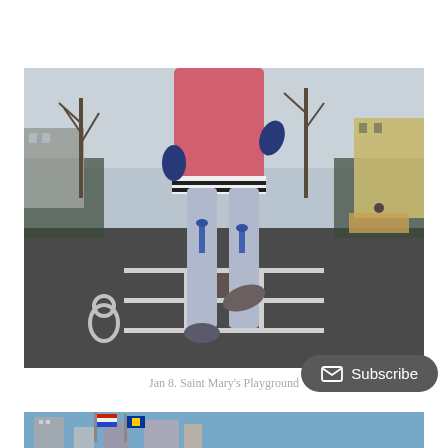[Figure (photo): Low-angle photo of a child jumping rope in a city playground. The child wears a pink puffer jacket, striped shirt, light blue patterned leggings, and sneakers. A concrete pole is visible, and the playground has painted hopscotch markings. Trees, fencing, buildings, and a bench are visible in the background.]
Jan 8. Saint Mary's Playground
[Figure (photo): Partial view of a city skyline with flags and buildings visible at the bottom of the page.]